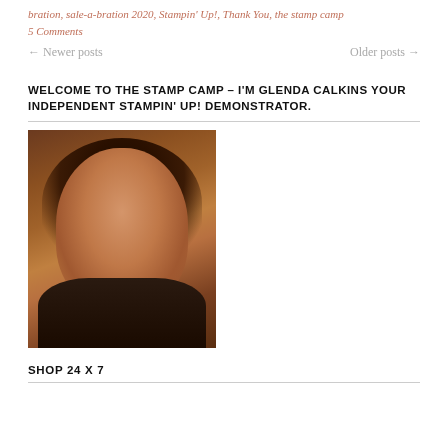bration, sale-a-bration 2020, Stampin' Up!, Thank You, the stamp camp
5 Comments
← Newer posts    Older posts →
WELCOME TO THE STAMP CAMP – I'M GLENDA CALKINS YOUR INDEPENDENT STAMPIN' UP! DEMONSTRATOR.
[Figure (photo): Portrait photo of Glenda Calkins, a woman with long dark wavy hair, smiling, wearing a dark lace top, with a wooden background.]
SHOP 24 X 7